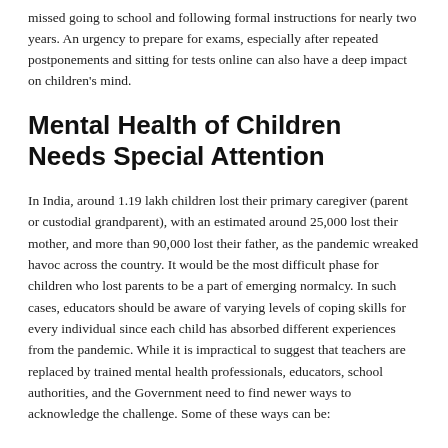missed going to school and following formal instructions for nearly two years. An urgency to prepare for exams, especially after repeated postponements and sitting for tests online can also have a deep impact on children's mind.
Mental Health of Children Needs Special Attention
In India, around 1.19 lakh children lost their primary caregiver (parent or custodial grandparent), with an estimated around 25,000 lost their mother, and more than 90,000 lost their father, as the pandemic wreaked havoc across the country. It would be the most difficult phase for children who lost parents to be a part of emerging normalcy. In such cases, educators should be aware of varying levels of coping skills for every individual since each child has absorbed different experiences from the pandemic. While it is impractical to suggest that teachers are replaced by trained mental health professionals, educators, school authorities, and the Government need to find newer ways to acknowledge the challenge. Some of these ways can be: